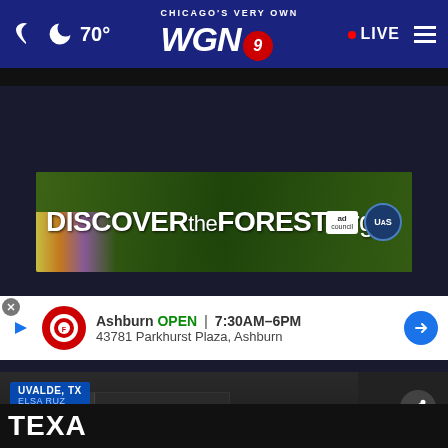[Figure (screenshot): WGN9 Chicago TV station website screenshot showing navigation bar with moon icon, 70° temperature, WGN9 logo, LIVE button, and hamburger menu]
[Figure (screenshot): DiscovertheForest.org advertisement banner with forest background, flowers, Ad Council and US Forest Service logos]
[Figure (screenshot): Security camera footage video still from Uvalde, TX showing a figure circled in red near a building entrance, with play button overlay, share icon, and location tag reading UVALDE, TX / ELSA RUZ]
[Figure (screenshot): Firestone auto care advertisement showing Ashburn location OPEN 7:30AM-6PM at 43781 Parkhurst Plaza, Ashburn]
TEXA